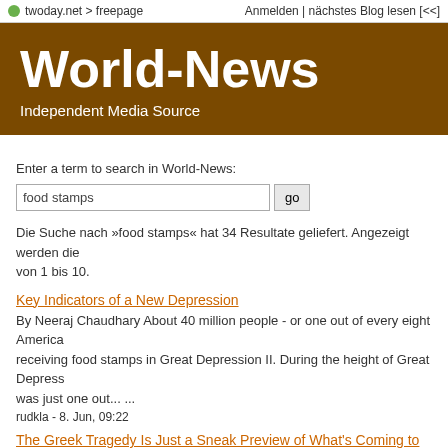twoday.net > freepage   Anmelden | nächstes Blog lesen [<<]
World-News
Independent Media Source
Enter a term to search in World-News:
food stamps  go
Die Suche nach »food stamps« hat 34 Resultate geliefert. Angezeigt werden die von 1 bis 10.
Key Indicators of a New Depression
By Neeraj Chaudhary About 40 million people - or one out of every eight America receiving food stamps in Great Depression II. During the height of Great Depress was just one out... ...
rudkla - 8. Jun, 09:22
The Greek Tragedy Is Just a Sneak Preview of What's Coming to Washington
//www.lewrockwell.com/holland/holland17.1.html Britain Is the New Greece //www... all.com/grin1/theodoracopulos1.1.1.html ... The Greek People are the Vict...